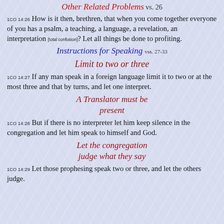Other Related Problems vs. 26
1CO 14:26 How is it then, brethren, that when you come together everyone of you has a psalm, a teaching, a language, a revelation, an interpretation [total confusion]? Let all things be done to profiting.
Instructions for Speaking vss. 27-33
Limit to two or three
1CO 14:27 If any man speak in a foreign language limit it to two or at the most three and that by turns, and let one interpret.
A Translator must be present
1CO 14:28 But if there is no interpreter let him keep silence in the congregation and let him speak to himself and God.
Let the congregation judge what they say
1CO 14:29 Let those prophesing speak two or three, and let the others judge.